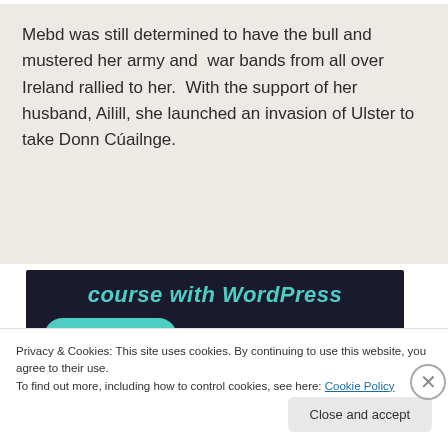Mebd was still determined to have the bull and mustered her army and  war bands from all over Ireland rallied to her.  With the support of her husband, Ailill, she launched an invasion of Ulster to take Donn Cúailnge.
[Figure (screenshot): Dark banner advertisement with teal text reading 'course with WordPress' and a teal rounded 'Learn More' button]
Privacy & Cookies: This site uses cookies. By continuing to use this website, you agree to their use.
To find out more, including how to control cookies, see here: Cookie Policy
Close and accept